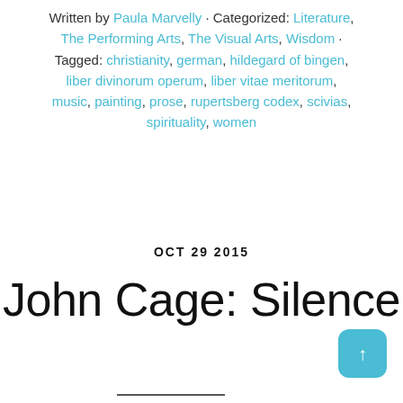Written by Paula Marvelly · Categorized: Literature, The Performing Arts, The Visual Arts, Wisdom · Tagged: christianity, german, hildegard of bingen, liber divinorum operum, liber vitae meritorum, music, painting, prose, rupertsberg codex, scivias, spirituality, women
OCT 29 2015
John Cage: Silence